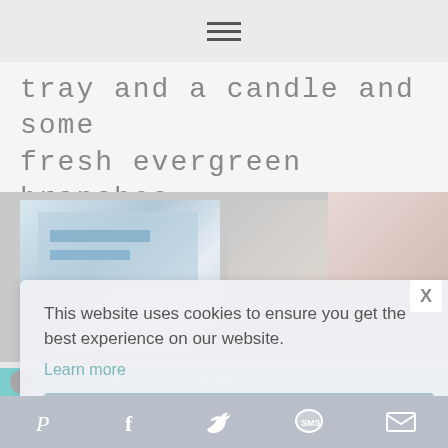≡ (hamburger menu icon)
tray and a candle and some fresh evergreen branches.
[Figure (photo): Two blurred lifestyle photos side by side: left shows a screen/monitor with blue graphic elements, right shows a patterned fabric/gift wrapping. A third blurred photo is partially visible on the right edge.]
This website uses cookies to ensure you get the best experience on our website.
Learn more
Got it!
Pinterest | Facebook | Twitter | SMS | Email (social share icons)